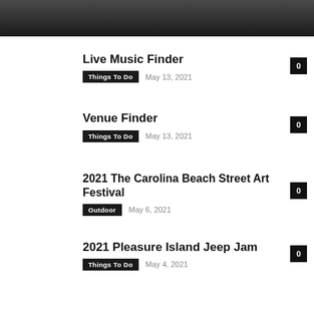Live Music Finder | Things To Do | May 13, 2021 | 0
Venue Finder | Things To Do | May 13, 2021 | 0
2021 The Carolina Beach Street Art Festival | Outdoor | May 6, 2021 | 0
2021 Pleasure Island Jeep Jam | Things To Do | May 4, 2021 | 0